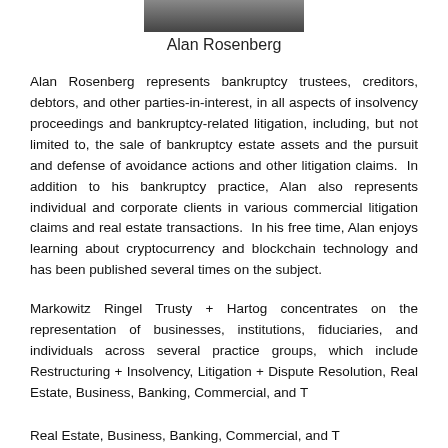[Figure (photo): Partial photo of Alan Rosenberg at top of page]
Alan Rosenberg
Alan Rosenberg represents bankruptcy trustees, creditors, debtors, and other parties-in-interest, in all aspects of insolvency proceedings and bankruptcy-related litigation, including, but not limited to, the sale of bankruptcy estate assets and the pursuit and defense of avoidance actions and other litigation claims.  In addition to his bankruptcy practice, Alan also represents individual and corporate clients in various commercial litigation claims and real estate transactions.  In his free time, Alan enjoys learning about cryptocurrency and blockchain technology and has been published several times on the subject.
Markowitz Ringel Trusty + Hartog concentrates on the representation of businesses, institutions, fiduciaries, and individuals across several practice groups, which include Restructuring + Insolvency, Litigation + Dispute Resolution, Real Estate, Business, Banking, Commercial, and Trust...